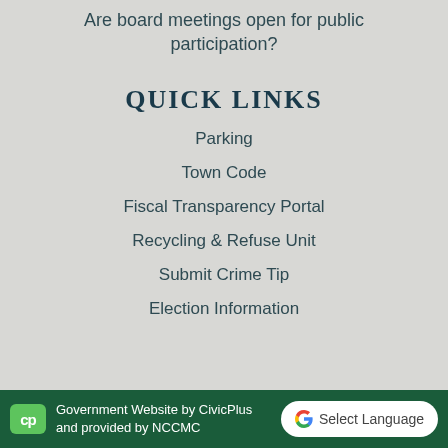Are board meetings open for public participation?
QUICK LINKS
Parking
Town Code
Fiscal Transparency Portal
Recycling & Refuse Unit
Submit Crime Tip
Election Information
Government Website by CivicPlus and provided by NCCMC